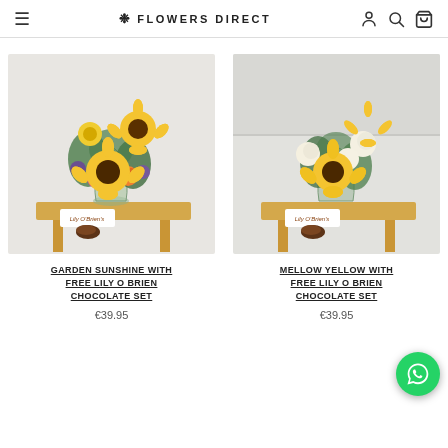≡  ❊ FLOWERS DIRECT  👤 🔍 🛒
[Figure (photo): Flower bouquet with sunflowers, orange roses, purple flowers, and pink carnations in a glass vase on a wooden stool, with a Lily O'Brien chocolate box and chocolate]
GARDEN SUNSHINE WITH FREE LILY O BRIEN CHOCOLATE SET
€39.95
[Figure (photo): Flower bouquet with sunflowers, cream/white roses, and greenery in a glass vase on a wooden stool, with a Lily O'Brien chocolate box and chocolate]
MELLOW YELLOW WITH FREE LILY O BRIEN CHOCOLATE SET
€39.95